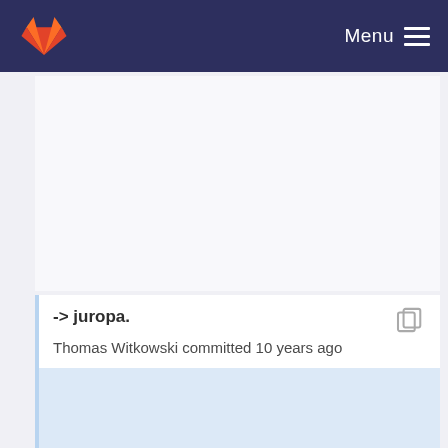Menu
-> juropa.
Thomas Witkowski committed 10 years ago